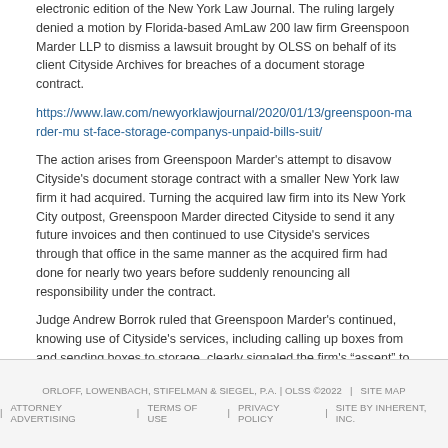electronic edition of the New York Law Journal. The ruling largely denied a motion by Florida-based AmLaw 200 law firm Greenspoon Marder LLP to dismiss a lawsuit brought by OLSS on behalf of its client Cityside Archives for breaches of a document storage contract.
https://www.law.com/newyorklawjournal/2020/01/13/greenspoon-marder-must-face-storage-companys-unpaid-bills-suit/
The action arises from Greenspoon Marder’s attempt to disavow Cityside’s document storage contract with a smaller New York law firm it had acquired. Turning the acquired law firm into its New York City outpost, Greenspoon Marder directed Cityside to send it any future invoices and then continued to use Cityside’s services through that office in the same manner as the acquired firm had done for nearly two years before suddenly renouncing all responsibility under the contract.
Judge Andrew Borrok ruled that Greenspoon Marder’s continued, knowing use of Cityside’s services, including calling up boxes from and sending boxes to storage, clearly signaled the firm’s “assent” to its acquired office’s contract with Cityside.
OLSS partner David Gorvitz and associate Alexander Firsichbaum have represented Cityside in this case.
ORLOFF, LOWENBACH, STIFELMAN & SIEGEL, P.A. | OLSS ©2022 | SITE MAP | ATTORNEY ADVERTISING | TERMS OF USE | PRIVACY POLICY | SITE BY INHERENT, INC.